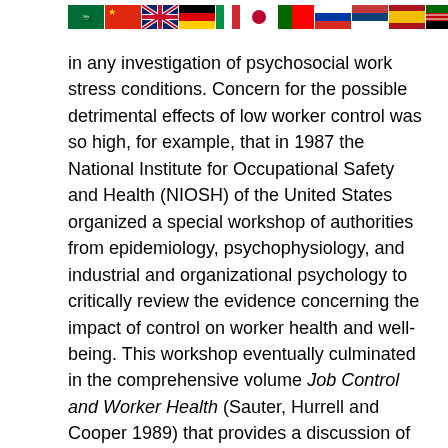[Figure (other): A row of national flag icons: Saudi Arabia, China, UK, Germany, Italy, Japan, Portugal, Russia, Serbia, Spain, Kenya]
as a cri... deration in any investigation of psychosocial work stress conditions. Concern for the possible detrimental effects of low worker control was so high, for example, that in 1987 the National Institute for Occupational Safety and Health (NIOSH) of the United States organized a special workshop of authorities from epidemiology, psychophysiology, and industrial and organizational psychology to critically review the evidence concerning the impact of control on worker health and well-being. This workshop eventually culminated in the comprehensive volume Job Control and Worker Health (Sauter, Hurrell and Cooper 1989) that provides a discussion of the global research efforts on control. Such widespread acknowledgement of the role of control in worker well-being also had an impact on governmental policy, with the Swedish Work Environment Act (Ministry of Labour 1987) stating that "the aim must be for work to be arranged in such a way so that the employee himself can influence his work situation". In the remainder of this article I summarize the research evidence on